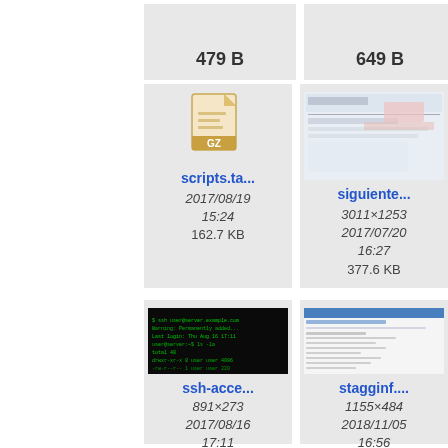479 B
649 B
[Figure (screenshot): GZ archive file icon]
scripts.ta...
2017/08/19 15:24
162.7 KB
[Figure (screenshot): Thumbnail of siguiente image, 3011x1253]
siguiente...
3011×1253
2017/07/20 16:27
377.6 KB
[Figure (screenshot): Terminal screenshot showing green text on black background]
ssh-acce...
891×273
2017/08/16 17:11
340.6 KB
[Figure (screenshot): Thumbnail of stagginf document]
stagginf....
1155×484
2018/11/05 16:56
91.5 KB